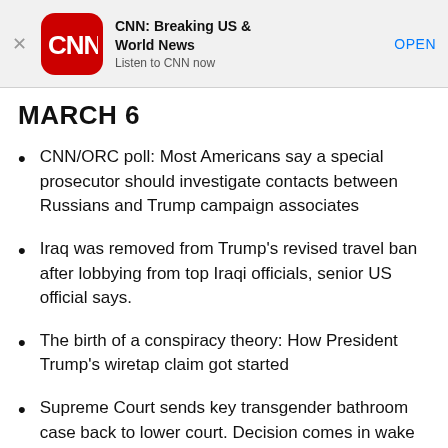[Figure (screenshot): CNN app advertisement banner with CNN logo, app name 'CNN: Breaking US & World News', tagline 'Listen to CNN now', and an OPEN button]
MARCH 6
CNN/ORC poll: Most Americans say a special prosecutor should investigate contacts between Russians and Trump campaign associates
Iraq was removed from Trump's revised travel ban after lobbying from top Iraqi officials, senior US official says.
The birth of a conspiracy theory: How President Trump's wiretap claim got started
Supreme Court sends key transgender bathroom case back to lower court. Decision comes in wake